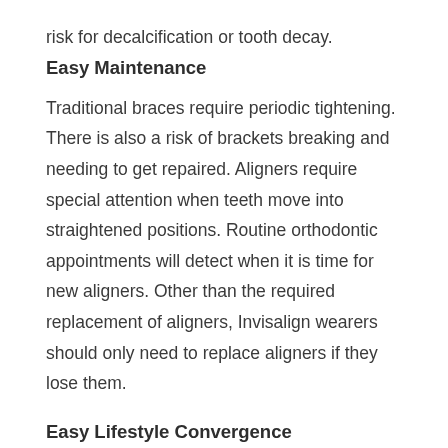risk for decalcification or tooth decay.
Easy Maintenance
Traditional braces require periodic tightening. There is also a risk of brackets breaking and needing to get repaired. Aligners require special attention when teeth move into straightened positions. Routine orthodontic appointments will detect when it is time for new aligners. Other than the required replacement of aligners, Invisalign wearers should only need to replace aligners if they lose them.
Easy Lifestyle Convergence